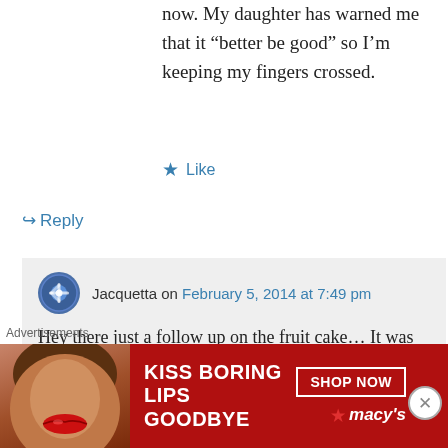now. My daughter has warned me that it “better be good” so I’m keeping my fingers crossed.
★ Like
↳ Reply
Jacquetta on February 5, 2014 at 7:49 pm
Hey there just a follow up on the fruit cake… It was the bomb!!! I used banana pudding instead of vanilla because I picked up the wrong kind but out was still awesome. Everyone loved it. Especially my
Advertisements
[Figure (other): Macy's advertisement banner: KISS BORING LIPS GOODBYE with SHOP NOW button and Macy's logo]